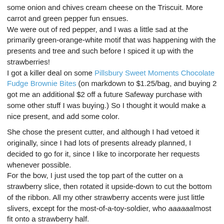some onion and chives cream cheese on the Triscuit. More carrot and green pepper fun ensues.
We were out of red pepper, and I was a little sad at the primarily green-orange-white motif that was happening with the presents and tree and such before I spiced it up with the strawberries!
I got a killer deal on some Pillsbury Sweet Moments Chocolate Fudge Brownie Bites (on markdown to $1.25/bag, and buying 2 got me an additional $2 off a future Safeway purchase with some other stuff I was buying.) So I thought it would make a nice present, and add some color.

She chose the present cutter, and although I had vetoed it originally, since I had lots of presents already planned, I decided to go for it, since I like to incorporate her requests whenever possible.
For the bow, I just used the top part of the cutter on a strawberry slice, then rotated it upside-down to cut the bottom of the ribbon. All my other strawberry accents were just little slivers, except for the most-of-a-toy-soldier, who aaaaaalmost fit onto a strawberry half.